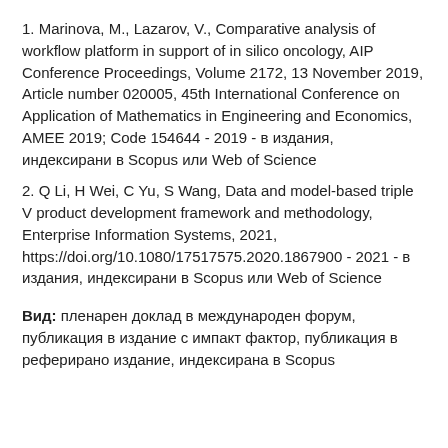1. Marinova, M., Lazarov, V., Comparative analysis of workflow platform in support of in silico oncology, AIP Conference Proceedings, Volume 2172, 13 November 2019, Article number 020005, 45th International Conference on Application of Mathematics in Engineering and Economics, AMEE 2019; Code 154644 - 2019 - в издания, индексирани в Scopus или Web of Science
2. Q Li, H Wei, C Yu, S Wang, Data and model-based triple V product development framework and methodology, Enterprise Information Systems, 2021, https://doi.org/10.1080/17517575.2020.1867900 - 2021 - в издания, индексирани в Scopus или Web of Science
Вид: пленарен доклад в международен форум, публикация в издание с импакт фактор, публикация в реферирано издание, индексирана в Scopus